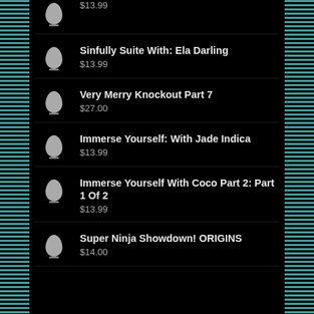$13.99
Sinfully Suite With: Ela Darling
$13.99
Very Merry Knockout Part 7
$27.00
Immerse Yourself: With Jade Indica
$13.99
Immerse Yourself With Coco Part 2: Part 1 Of 2
$13.99
Super Ninja Showdown! ORIGINS
$14.00